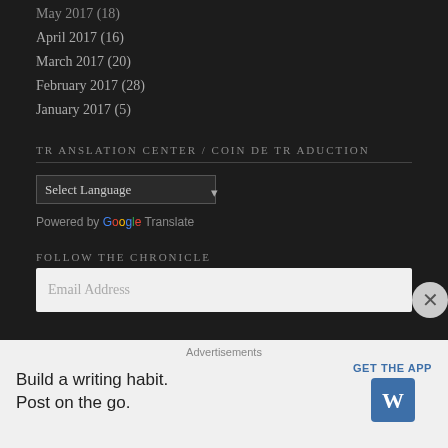May 2017 (18)
April 2017 (16)
March 2017 (20)
February 2017 (28)
January 2017 (5)
TRANSLATION CENTER / COIN DE TRADUCTION
Select Language — Powered by Google Translate
FOLLOW THE CHRONICLE
thechronicleblog@hotmail.com
Email Address
Advertisements
Build a writing habit.
Post on the go.
GET THE APP